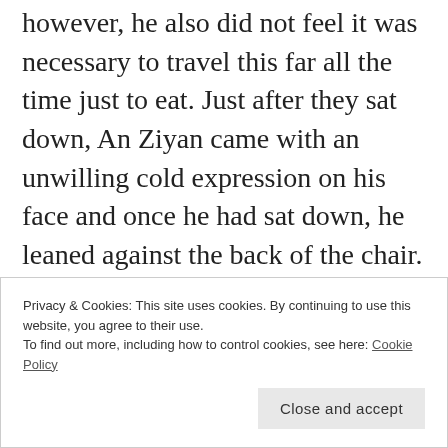however, he also did not feel it was necessary to travel this far all the time just to eat. Just after they sat down, An Ziyan came with an unwilling cold expression on his face and once he had sat down, he leaned against the back of the chair.

“Ugh, you guys are screwed. Your marriage life has entered the burnout period.” Zhou Ge shook his head as he stroked Ellen’s hair, who was leaning on his shoulder. Ellen jeered by his side, “I knew that Mai Ding had no charm”
Privacy & Cookies: This site uses cookies. By continuing to use this website, you agree to their use.
To find out more, including how to control cookies, see here: Cookie Policy